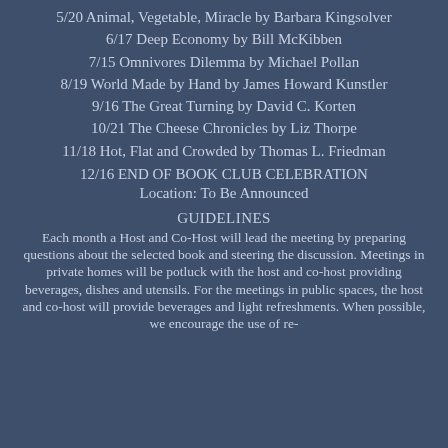5/20 Animal, Vegetable, Miracle by Barbara Kingsolver
6/17 Deep Economy by Bill McKibben
7/15 Omnivores Dilemma by Michael Pollan
8/19 World Made by Hand by James Howard Kunstler
9/16 The Great Turning by David C. Korten
10/21 The Cheese Chronicles by Liz Thorpe
11/18 Hot, Flat and Crowded by Thomas L. Friedman
12/16 END OF BOOK CLUB CELEBRATION
Location: To Be Announced
GUIDELINES
Each month a Host and Co-Host will lead the meeting by preparing questions about the selected book and steering the discussion. Meetings in private homes will be potluck with the host and co-host providing beverages, dishes and utensils. For the meetings in public spaces, the host and co-host will provide beverages and light refreshments. When possible, we encourage the use of re-